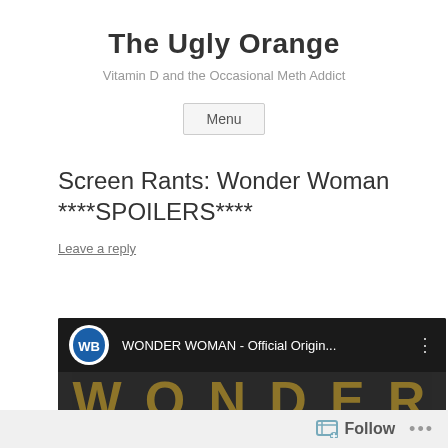The Ugly Orange
Vitamin D and the Occasional Meth Addict
Menu
Screen Rants: Wonder Woman ****SPOILERS****
Leave a reply
[Figure (screenshot): YouTube video thumbnail for 'WONDER WOMAN - Official Origin...' with Warner Bros. logo, dark background with 'WONDER' text and a person silhouette]
Follow ...